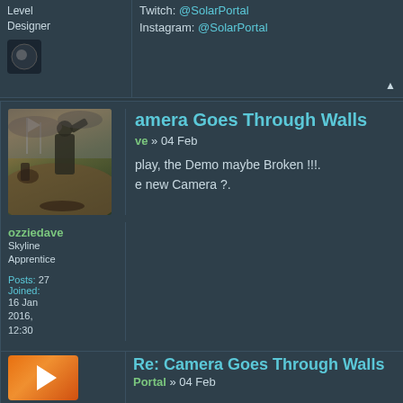Level Designer
Instagram: @SolarPortal
[Figure (screenshot): Partial post block showing Level Designer role, Instagram link, and small moon avatar icon]
Camera Goes Through Walls
ozziedave » 04 Feb
[Figure (illustration): Fantasy battle scene with a large armored warrior figure on a hill, soldiers with flags in the background, dark dramatic sky]
play, the Demo maybe Broken !!!.
e new Camera ?.
ozziedave
Skyline Apprentice
Posts: 27
Joined:
16 Jan 2016, 12:30
Re: Camera Goes Through Walls
Portal » 04 Feb
[Figure (logo): Orange square icon with white arrow pointing right]